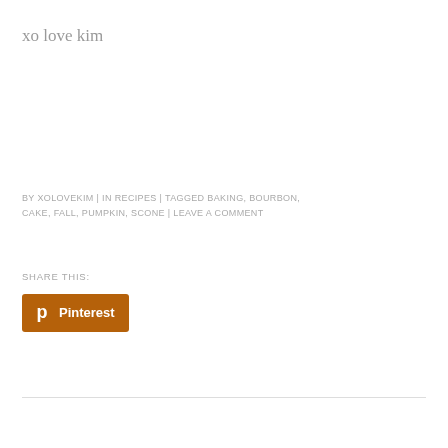xo love kim
BY XOLOVEKIM | IN RECIPES | TAGGED BAKING, BOURBON, CAKE, FALL, PUMPKIN, SCONE | LEAVE A COMMENT
SHARE THIS:
[Figure (logo): Pinterest share button with Pinterest 'P' logo icon and the text 'Pinterest' on an orange-brown background]